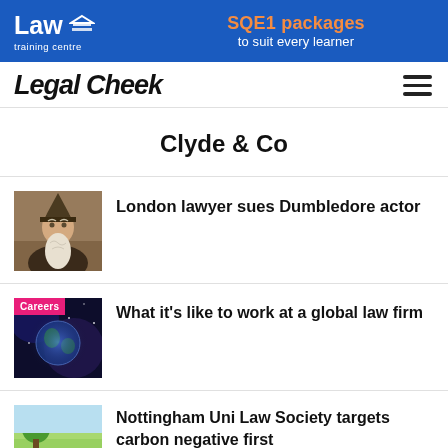[Figure (infographic): Law Training Centre banner ad: Blue background with Law Training Centre logo on left and 'SQE1 packages to suit every learner' text on right]
Legal Cheek
Clyde & Co
London lawyer sues Dumbledore actor
What it's like to work at a global law firm
Nottingham Uni Law Society targets carbon negative first